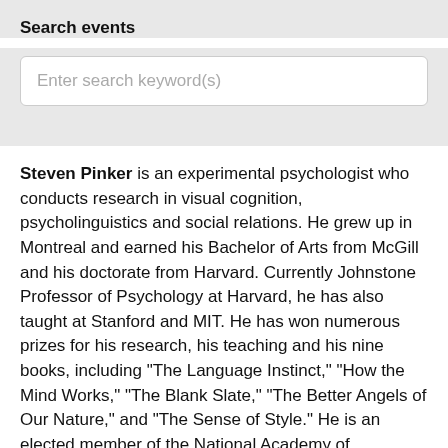Search events
Enter search keyword(s)
Steven Pinker is an experimental psychologist who conducts research in visual cognition, psycholinguistics and social relations. He grew up in Montreal and earned his Bachelor of Arts from McGill and his doctorate from Harvard. Currently Johnstone Professor of Psychology at Harvard, he has also taught at Stanford and MIT. He has won numerous prizes for his research, his teaching and his nine books, including "The Language Instinct," "How the Mind Works," "The Blank Slate," "The Better Angels of Our Nature," and "The Sense of Style." He is an elected member of the National Academy of Sciences, a two-time Pulitzer Prize finalist, a Humanist of the Year, a recipient of